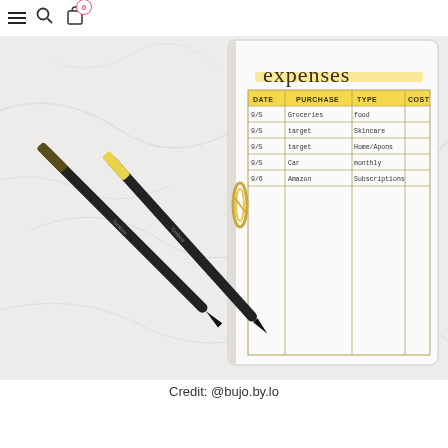Navigation bar with hamburger menu, search icon, cart icon (0)
[Figure (photo): Photo of two Tombow dual brush pens (olive/dark and yellow) lying on a marble surface next to an open bullet journal notebook showing an 'expenses' tracker page with a hand-lettered title and a table with columns DATE, PURCHASE, TYPE, COST. A gold binder clip is visible on the notebook spine. Several handwritten entries are visible in the top rows of the table.]
Credit: @bujo.by.lo